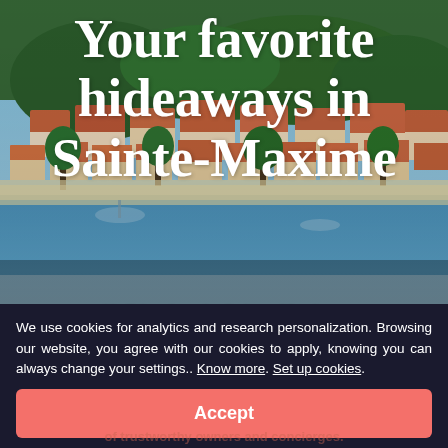[Figure (photo): Aerial/coastal view of Sainte-Maxime, French Riviera, showing terracotta-roofed buildings, green trees, beach and blue sea in the background.]
Your favorite hideaways in Sainte-Maxime
Holiday lets in Sainte-Maxime, Since 2012, My home in offers a selection of 167 villas and apartments to rent in Sainte-Maxime, French Riviera.
We use cookies for analytics and research personalization. Browsing our website, you agree with our cookies to apply, knowing you can always change your settings.. Know more. Set up cookies.
Accept
of trustworthy owners and concierges.